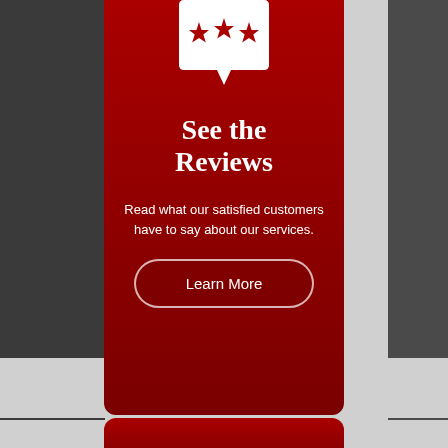[Figure (illustration): White speech bubble icon with three stars inside, on dark red background]
See the Reviews
Read what our satisfied customers have to say about our services.
Learn More